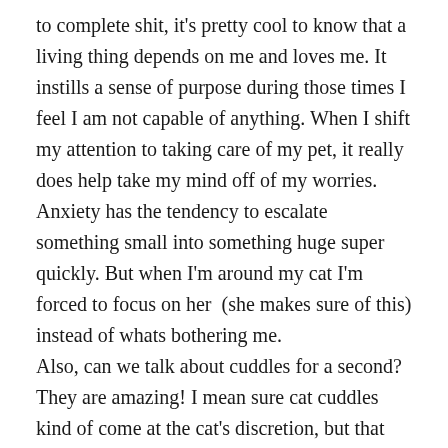to complete shit, it's pretty cool to know that a living thing depends on me and loves me. It instills a sense of purpose during those times I feel I am not capable of anything. When I shift my attention to taking care of my pet, it really does help take my mind off of my worries. Anxiety has the tendency to escalate something small into something huge super quickly. But when I'm around my cat I'm forced to focus on her  (she makes sure of this) instead of whats bothering me.
Also, can we talk about cuddles for a second? They are amazing! I mean sure cat cuddles kind of come at the cat's discretion, but that makes receiving all that much better. Also, my cat is pretty intuitive, she never denies me a cuddle when she can sense I'm in a bad mood.
Although sometimes she does draw the line at having